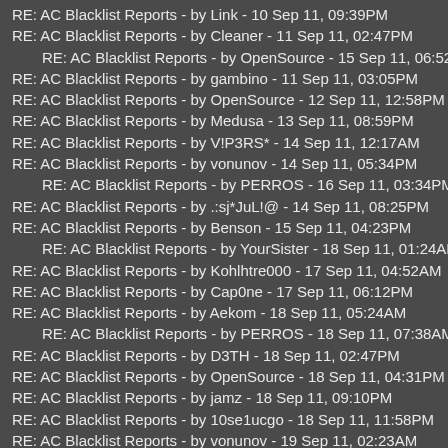RE: AC Blacklist Reports - by Link - 10 Sep 11, 09:39PM
RE: AC Blacklist Reports - by Cleaner - 11 Sep 11, 02:47PM
RE: AC Blacklist Reports - by OpenSource - 15 Sep 11, 06:52PM
RE: AC Blacklist Reports - by gambino - 11 Sep 11, 03:05PM
RE: AC Blacklist Reports - by OpenSource - 12 Sep 11, 12:58PM
RE: AC Blacklist Reports - by Medusa - 13 Sep 11, 08:59PM
RE: AC Blacklist Reports - by V!P3RS* - 14 Sep 11, 12:17AM
RE: AC Blacklist Reports - by vonunov - 14 Sep 11, 05:34PM
RE: AC Blacklist Reports - by PERROS - 16 Sep 11, 03:34PM
RE: AC Blacklist Reports - by .:sj*JuL!@ - 14 Sep 11, 08:25PM
RE: AC Blacklist Reports - by Benson - 15 Sep 11, 04:23PM
RE: AC Blacklist Reports - by YourSister - 18 Sep 11, 01:24AM
RE: AC Blacklist Reports - by Kohlhtre000 - 17 Sep 11, 04:52AM
RE: AC Blacklist Reports - by Cap0ne - 17 Sep 11, 06:12PM
RE: AC Blacklist Reports - by Aekom - 18 Sep 11, 05:24AM
RE: AC Blacklist Reports - by PERROS - 18 Sep 11, 07:38AM
RE: AC Blacklist Reports - by D3TH - 18 Sep 11, 02:47PM
RE: AC Blacklist Reports - by OpenSource - 18 Sep 11, 04:31PM
RE: AC Blacklist Reports - by jamz - 18 Sep 11, 09:10PM
RE: AC Blacklist Reports - by 10se1ucgo - 18 Sep 11, 11:58PM
RE: AC Blacklist Reports - by vonunov - 19 Sep 11, 02:23AM
RE: AC Blacklist Reports - by D3TH - 19 Sep 11, 04:30PM
RE: AC Blacklist Reports - by Medusa - 19 Sep 11, 08:04PM
RE: AC Blacklist Reports - by MykeGregory - 19 Sep 11, 08:08PM
RE: AC Blacklist Reports - by Armed - 20 Sep 11, 03:50AM